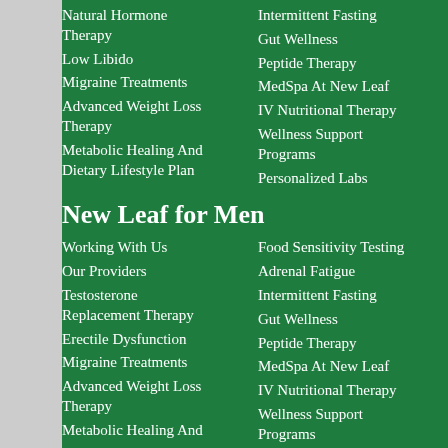Natural Hormone Therapy
Low Libido
Migraine Treatments
Advanced Weight Loss Therapy
Metabolic Healing And Dietary Lifestyle Plan
Intermittent Fasting
Gut Wellness
Peptide Therapy
MedSpa At New Leaf
IV Nutritional Therapy
Wellness Support Programs
Personalized Labs
New Leaf for Men
Working With Us
Our Providers
Testosterone Replacement Therapy
Erectile Dysfunction
Migraine Treatments
Advanced Weight Loss Therapy
Metabolic Healing And
Food Sensitivity Testing
Adrenal Fatigue
Intermittent Fasting
Gut Wellness
Peptide Therapy
MedSpa At New Leaf
IV Nutritional Therapy
Wellness Support Programs
Programs